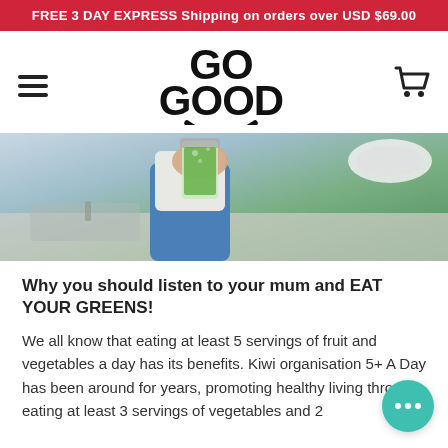FREE 3 DAY EXPRESS Shipping on orders over USD $69.00
[Figure (logo): GO GOOD logo with smiley face arc beneath the text]
[Figure (photo): Person holding a mason jar filled with green juice or smoothie, standing in a kitchen]
Why you should listen to your mum and EAT YOUR GREENS!
We all know that eating at least 5 servings of fruit and vegetables a day has its benefits. Kiwi organisation 5+ A Day has been around for years, promoting healthy living through eating at least 3 servings of vegetables and 2